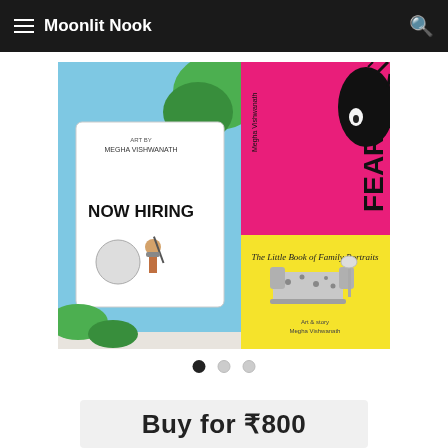Moonlit Nook
[Figure (photo): Three books arranged together: 'Now Hiring' (blue/green illustrated cover), 'Fear & I' (hot pink cover with black illustration), and 'The Little Book of Family Portraits' (yellow cover with sofa illustration), by Megha Vishwanath]
● ○ ○
Buy for ₹800